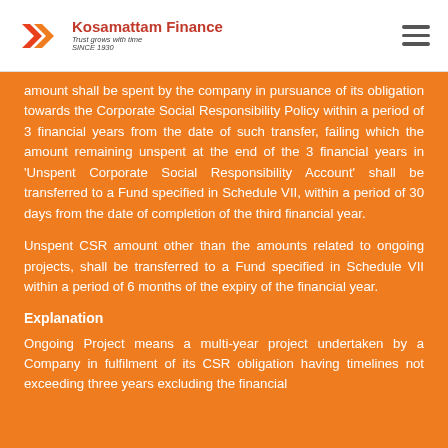Kosamattam Finance — Trust grows with time SINCE 1930
amount shall be spent by the company in pursuance of its obligation towards the Corporate Social Responsibility Policy within a period of 3 financial years from the date of such transfer, failing which the amount remaining unspent at the end of the 3 financial years in 'Unspent Corporate Social Responsibility Account' shall be transferred to a Fund specified in Schedule VII, within a period of 30 days from the date of completion of the third financial year.
Unspent CSR amount other than the amounts related to ongoing projects, shall be transferred to a Fund specified in Schedule VII within a period of 6 months of the expiry of the financial year.
Explanation
Ongoing Project means a multi-year project undertaken by a Company in fulfilment of its CSR obligation having timelines not exceeding three years excluding the financial